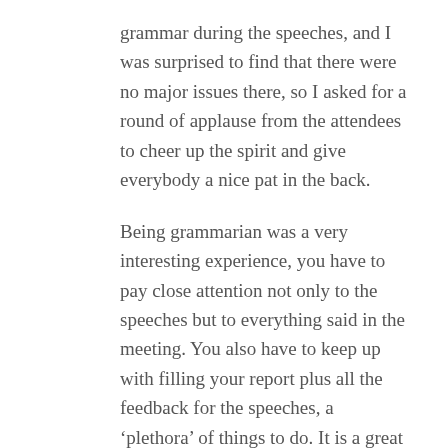grammar during the speeches, and I was surprised to find that there were no major issues there, so I asked for a round of applause from the attendees to cheer up the spirit and give everybody a nice pat in the back.
Being grammarian was a very interesting experience, you have to pay close attention not only to the speeches but to everything said in the meeting. You also have to keep up with filling your report plus all the feedback for the speeches, a ‘plethora’ of things to do. It is a great opportunity to attend to the meeting but in a totally different role than the regular, and I encourage you to step up and fill the role at your local TM meeting!